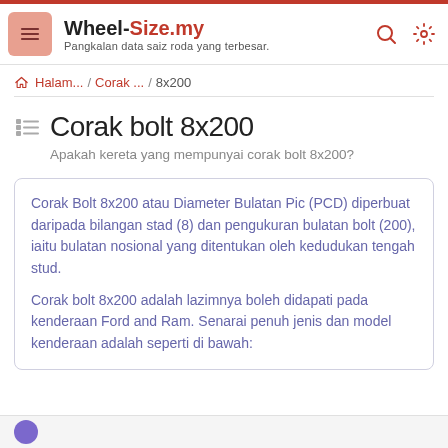Wheel-Size.my — Pangkalan data saiz roda yang terbesar.
Halam... / Corak ... / 8x200
Corak bolt 8x200
Apakah kereta yang mempunyai corak bolt 8x200?
Corak Bolt 8x200 atau Diameter Bulatan Pic (PCD) diperbuat daripada bilangan stad (8) dan pengukuran bulatan bolt (200), iaitu bulatan nosional yang ditentukan oleh kedudukan tengah stud.

Corak bolt 8x200 adalah lazimnya boleh didapati pada kenderaan Ford and Ram. Senarai penuh jenis dan model kenderaan adalah seperti di bawah: